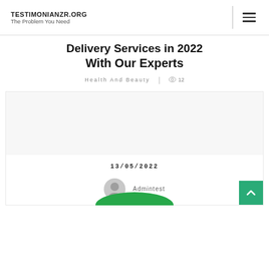TESTIMONIANZR.ORG
The Problem You Need
Delivery Services in 2022 With Our Experts
Health And Beauty | 12
13/05/2022
Admintest
[Figure (illustration): Green circular logo or image partially visible at the bottom of the page]